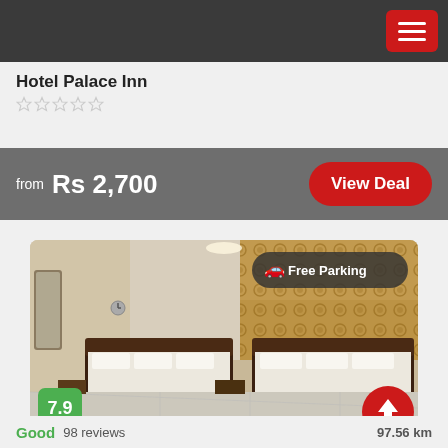Hotel Palace Inn app header with menu button
Hotel Palace Inn
from Rs 2,700
View Deal
[Figure (photo): Hotel room photo showing two large beds with dark wooden headboards, white bedding, gold patterned wallpaper, marble floor, mirror on left wall, ceiling light. Free Parking badge visible top right. Score badge 7.9 bottom left. Red up-arrow button bottom right.]
Good  98 reviews  97.56 km